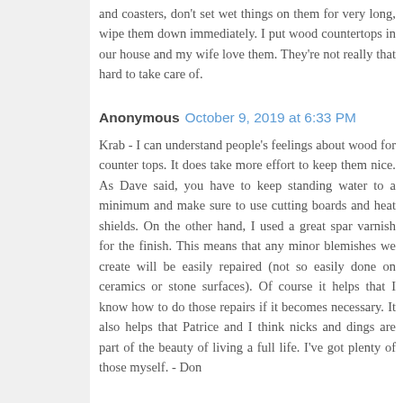and coasters, don't set wet things on them for very long, wipe them down immediately. I put wood countertops in our house and my wife love them. They're not really that hard to take care of.
Anonymous  October 9, 2019 at 6:33 PM
Krab - I can understand people's feelings about wood for counter tops. It does take more effort to keep them nice. As Dave said, you have to keep standing water to a minimum and make sure to use cutting boards and heat shields. On the other hand, I used a great spar varnish for the finish. This means that any minor blemishes we create will be easily repaired (not so easily done on ceramics or stone surfaces). Of course it helps that I know how to do those repairs if it becomes necessary. It also helps that Patrice and I think nicks and dings are part of the beauty of living a full life. I've got plenty of those myself. - Don